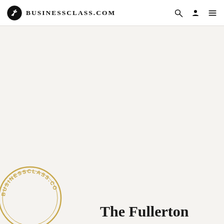BusinessClass.com
[Figure (logo): BusinessClass.com circular stamp/seal logo in gold]
The Fullerton